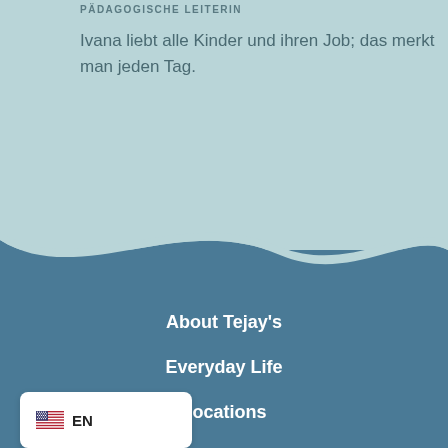PÄDAGOGISCHE LEITERIN
Ivana liebt alle Kinder und ihren Job; das merkt man jeden Tag.
About Tejay's
Everyday Life
Locations